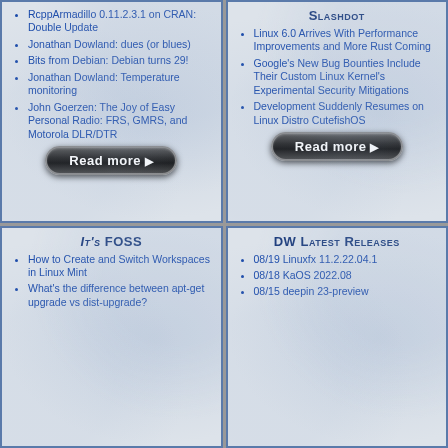RcppArmadillo 0.11.2.3.1 on CRAN: Double Update
Jonathan Dowland: dues (or blues)
Bits from Debian: Debian turns 29!
Jonathan Dowland: Temperature monitoring
John Goerzen: The Joy of Easy Personal Radio: FRS, GMRS, and Motorola DLR/DTR
Slashdot
Linux 6.0 Arrives With Performance Improvements and More Rust Coming
Google's New Bug Bounties Include Their Custom Linux Kernel's Experimental Security Mitigations
Development Suddenly Resumes on Linux Distro CutefishOS
It's FOSS
How to Create and Switch Workspaces in Linux Mint
What's the difference between apt-get upgrade vs dist-upgrade?
DW Latest Releases
08/19 Linuxfx 11.2.22.04.1
08/18 KaOS 2022.08
08/15 deepin 23-preview